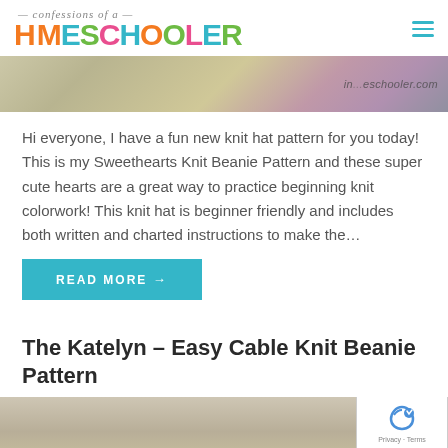confessions of a HOMESCHOOLER
[Figure (photo): Banner image showing textured knitted fabric with sparkly magenta/pink element on right side, with watermark text 'in...eschooler.com']
Hi everyone, I have a fun new knit hat pattern for you today! This is my Sweethearts Knit Beanie Pattern and these super cute hearts are a great way to practice beginning knit colorwork! This knit hat is beginner friendly and includes both written and charted instructions to make the…
READ MORE →
The Katelyn – Easy Cable Knit Beanie Pattern
[Figure (photo): Bottom portion of image showing knitted beanie pattern texture in beige/cream tones]